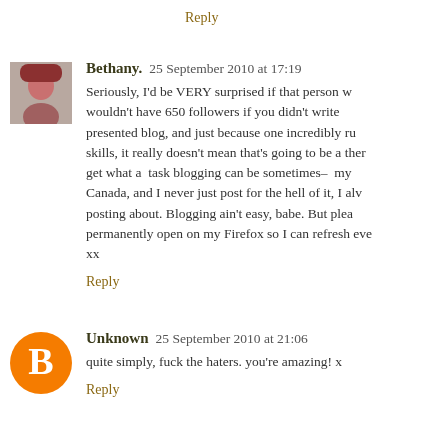Reply
Bethany.  25 September 2010 at 17:19
Seriously, I'd be VERY surprised if that person w... wouldn't have 650 followers if you didn't write presented blog, and just because one incredibly ru skills, it really doesn't mean that's going to be a ther get what a task blogging can be sometimes- my Canada, and I never just post for the hell of it, I alv posting about. Blogging ain't easy, babe. But plea permanently open on my Firefox so I can refresh eve xx
Reply
Unknown  25 September 2010 at 21:06
quite simply, fuck the haters. you're amazing! x
Reply